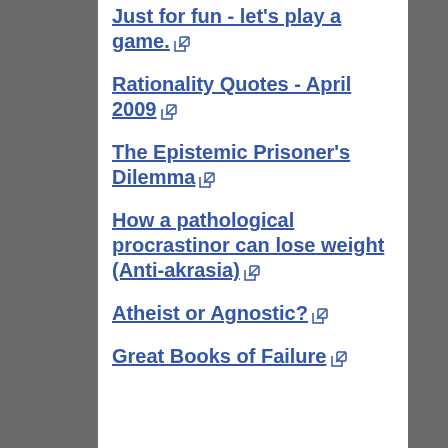Just for fun - let's play a game. [external link]
Rationality Quotes - April 2009 [external link]
The Epistemic Prisoner's Dilemma [external link]
How a pathological procrastinor can lose weight (Anti-akrasia) [external link]
Atheist or Agnostic? [external link]
Great Books of Failure [external link]